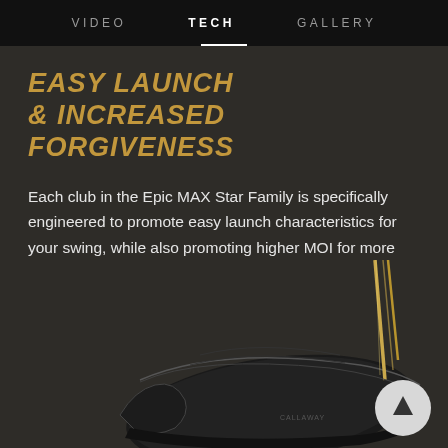VIDEO   TECH   GALLERY
EASY LAUNCH & INCREASED FORGIVENESS
Each club in the Epic MAX Star Family is specifically engineered to promote easy launch characteristics for your swing, while also promoting higher MOI for more forgiveness.
[Figure (photo): Golf club head (black, sleek design) with golden shaft accents on dark background, and a circular up-arrow button in the bottom right.]